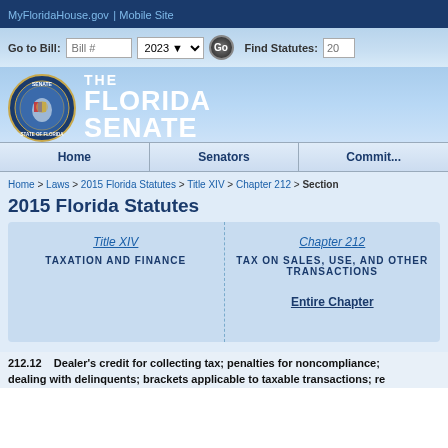MyFloridaHouse.gov | Mobile Site
[Figure (screenshot): Florida Senate website navigation with Go to Bill field, year selector 2023, Go button, and Find Statutes field]
[Figure (logo): The Florida Senate seal/logo with circular emblem and text THE FLORIDA SENATE]
Home | Senators | Committees
Home > Laws > 2015 Florida Statutes > Title XIV > Chapter 212 > Section
2015 Florida Statutes
| Title XIV | Chapter 212 |
| --- | --- |
| TAXATION AND FINANCE | TAX ON SALES, USE, AND OTHER TRANSACTIONS |
|  | Entire Chapter |
212.12    Dealer's credit for collecting tax; penalties for noncompliance; dealing with delinquents; brackets applicable to taxable transactions; re